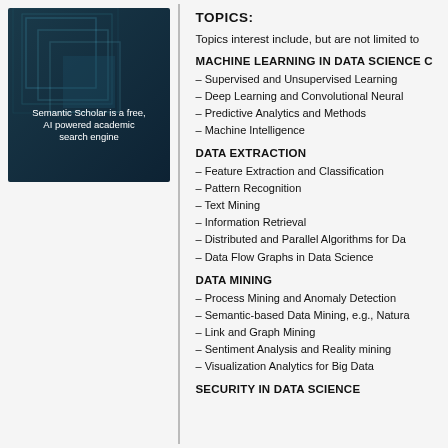[Figure (illustration): Dark teal/navy background with overlapping translucent square frames. Text reads: 'Semantic Scholar is a free, AI powered academic search engine']
TOPICS:
Topics interest include, but are not limited to
MACHINE LEARNING IN DATA SCIENCE C
– Supervised and Unsupervised Learning
– Deep Learning and Convolutional Neural
– Predictive Analytics and Methods
– Machine Intelligence
DATA EXTRACTION
– Feature Extraction and Classification
– Pattern Recognition
– Text Mining
– Information Retrieval
– Distributed and Parallel Algorithms for Da
– Data Flow Graphs in Data Science
DATA MINING
– Process Mining and Anomaly Detection
– Semantic-based Data Mining, e.g., Natura
– Link and Graph Mining
– Sentiment Analysis and Reality mining
– Visualization Analytics for Big Data
SECURITY IN DATA SCIENCE